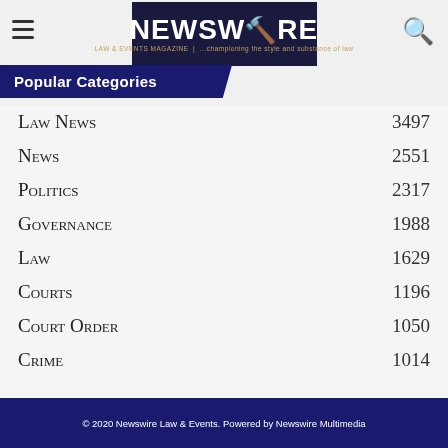NEWSWIRE LAW & EVENTS MAGAZINE | ...championing the style and substance of law
Popular Categories
Law News 3497
News 2551
Politics 2317
Governance 1988
Law 1629
Courts 1196
Court Order 1050
Crime 1014
© 2020 Newswire Law & Events. Powered by Newswire Multimedia